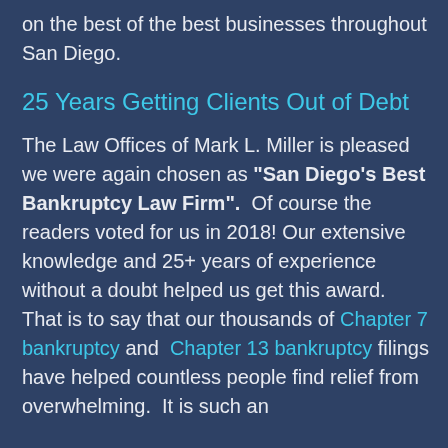on the best of the best businesses throughout San Diego.
25 Years Getting Clients Out of Debt
The Law Offices of Mark L. Miller is pleased we were again chosen as "San Diego's Best Bankruptcy Law Firm".  Of course the readers voted for us in 2018! Our extensive knowledge and 25+ years of experience without a doubt helped us get this award.  That is to say that our thousands of Chapter 7 bankruptcy and  Chapter 13 bankruptcy filings have helped countless people find relief from overwhelming.  It is such an